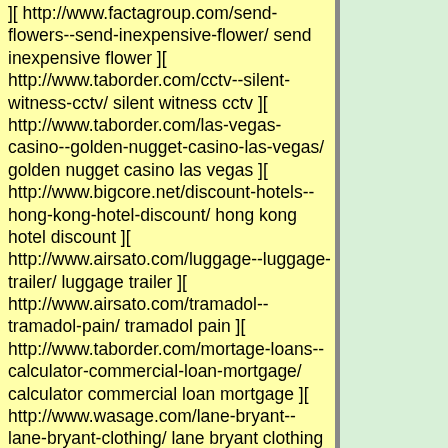][ http://www.factagroup.com/send-flowers--send-inexpensive-flower/ send inexpensive flower ][ http://www.taborder.com/cctv--silent-witness-cctv/ silent witness cctv ][ http://www.taborder.com/las-vegas-casino--golden-nugget-casino-las-vegas/ golden nugget casino las vegas ][ http://www.bigcore.net/discount-hotels--hong-kong-hotel-discount/ hong kong hotel discount ][ http://www.airsato.com/luggage--luggage-trailer/ luggage trailer ][ http://www.airsato.com/tramadol--tramadol-pain/ tramadol pain ][ http://www.taborder.com/mortage-loans--calculator-commercial-loan-mortgage/ calculator commercial loan mortgage ][ http://www.wasage.com/lane-bryant--lane-bryant-clothing/ lane bryant clothing ][ http://www.omnikai.info/bankruptcy-loan--bankruptcy-foreclosure-home-loan-refinance/ bankruptcy foreclosure home loan refinance ][ http://www.airsato.com/diazepam--cheap-diazepam/ cheap diazepam ][ http://www.airsato.com/amsterdam-hotels--hotel-atlanta-amsterdam/ hotel atlanta amsterdam ][